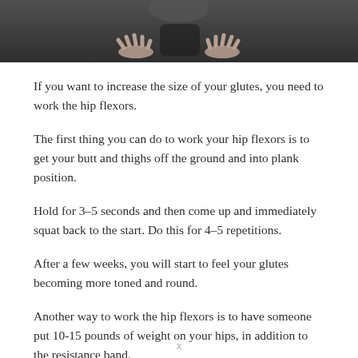[Figure (photo): Top portion of a photo showing a person in dark clothing with hands spread out on a dark surface, cropped at the top of the page.]
If you want to increase the size of your glutes, you need to work the hip flexors.
The first thing you can do to work your hip flexors is to get your butt and thighs off the ground and into plank position.
Hold for 3–5 seconds and then come up and immediately squat back to the start. Do this for 4–5 repetitions.
After a few weeks, you will start to feel your glutes becoming more toned and round.
Another way to work the hip flexors is to have someone put 10-15 pounds of weight on your hips, in addition to the resistance band.
x